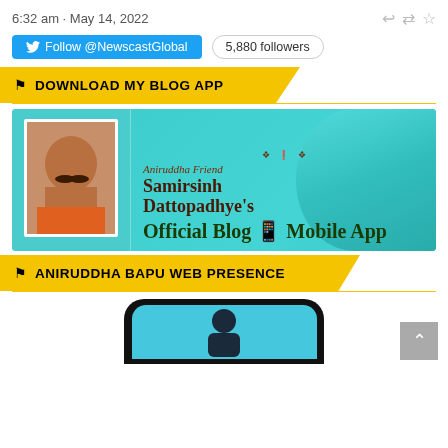6:32 am · May 14, 2022
Follow @NewscastGlobal  5,880 followers
DOWNLOAD MY BLOG APP
[Figure (photo): Banner image for Aniruddha Friend Samirsinh Dattopadhye's Official Blog Mobile App, featuring a photo of a man with a mustache on a teal background with a large face overlay on the right side. Text reads: 'Aniruddha Friend Samirsinh Dattopadhye's Official Blog Mobile App']
ANIRUDDHA BAPU WEB PRESENCE
[Figure (screenshot): Partial view of a mobile phone mockup with a teal/blue screen showing a silhouette or avatar image]